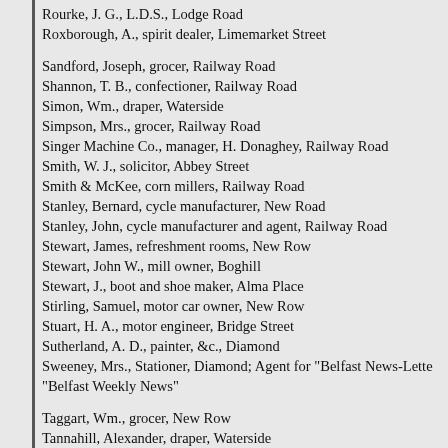Rourke, J. G., L.D.S., Lodge Road
Roxborough, A., spirit dealer, Limemarket Street
Sandford, Joseph, grocer, Railway Road
Shannon, T. B., confectioner, Railway Road
Simon, Wm., draper, Waterside
Simpson, Mrs., grocer, Railway Road
Singer Machine Co., manager, H. Donaghey, Railway Road
Smith, W. J., solicitor, Abbey Street
Smith & McKee, corn millers, Railway Road
Stanley, Bernard, cycle manufacturer, New Road
Stanley, John, cycle manufacturer and agent, Railway Road
Stewart, James, refreshment rooms, New Row
Stewart, John W., mill owner, Boghill
Stewart, J., boot and shoe maker, Alma Place
Stirling, Samuel, motor car owner, New Row
Stuart, H. A., motor engineer, Bridge Street
Sutherland, A. D., painter, &c., Diamond
Sweeney, Mrs., Stationer, Diamond; Agent for "Belfast News-Letter" "Belfast Weekly News"
Taggart, Wm., grocer, New Row
Tannahill, Alexander, draper, Waterside
Taylor, R. A., Ltd., distillers, New Market Street
Taylor & Co., corn merchants, Railway Road
Templer, Caf., &c...